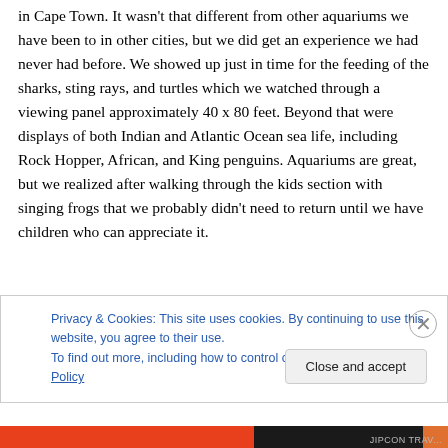in Cape Town. It wasn't that different from other aquariums we have been to in other cities, but we did get an experience we had never had before. We showed up just in time for the feeding of the sharks, sting rays, and turtles which we watched through a viewing panel approximately 40 x 80 feet. Beyond that were displays of both Indian and Atlantic Ocean sea life, including Rock Hopper, African, and King penguins. Aquariums are great, but we realized after walking through the kids section with singing frogs that we probably didn't need to return until we have children who can appreciate it.
Privacy & Cookies: This site uses cookies. By continuing to use this website, you agree to their use.
To find out more, including how to control cookies, see here: Cookie Policy